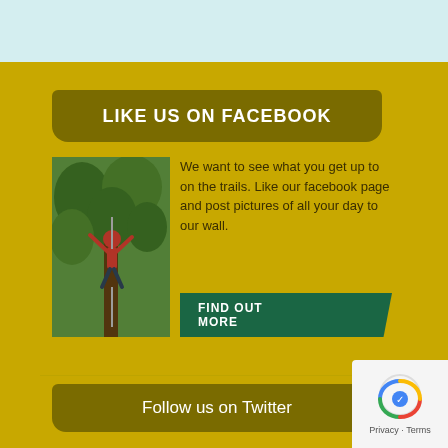LIKE US ON FACEBOOK
[Figure (photo): Person climbing trees outdoors in green forest]
We want to see what you get up to on the trails. Like our facebook page and post pictures of all your day to our wall.
FIND OUT MORE
Follow us on Twitter
https://t.co/Dfgry83uwp about 3 years ago from Facebook